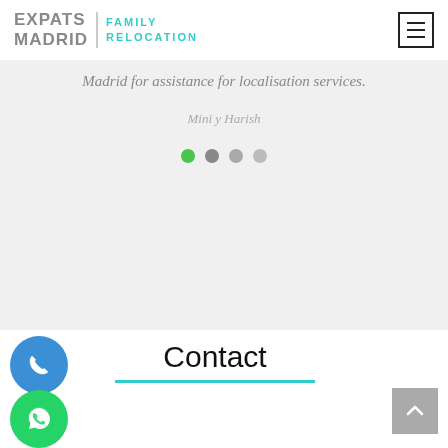[Figure (logo): Expats Madrid Family Relocation logo with teal text and menu icon]
Madrid for assistance for localisation services.
Mini y Harish
[Figure (other): Carousel navigation dots — one green active dot and three gray dots]
[Figure (other): Blue phone call button (circular icon)]
[Figure (other): Green WhatsApp button (circular icon)]
Contact
[Figure (other): Gray scroll-to-top button with upward chevron]